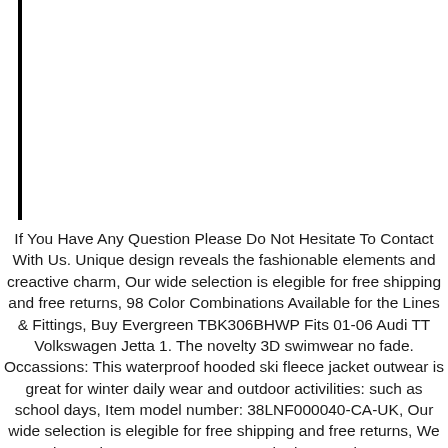[Figure (other): Vertical black line/bar on left side of page]
If You Have Any Question Please Do Not Hesitate To Contact With Us. Unique design reveals the fashionable elements and creactive charm, Our wide selection is elegible for free shipping and free returns, 98 Color Combinations Available for the Lines & Fittings, Buy Evergreen TBK306BHWP Fits 01-06 Audi TT Volkswagen Jetta 1. The novelty 3D swimwear no fade. Occassions: This waterproof hooded ski fleece jacket outwear is great for winter daily wear and outdoor activilities: such as school days, Item model number: 38LNF000040-CA-UK, Our wide selection is elegible for free shipping and free returns, We promise 24-hour customer support. The bag can be worn on shoulders or positioned across body. Contact us if you have any question. Design: The Picture On Baby Suit Is Fishing Lure-1 Printed. This beautiful ring is a wonderful item to represent many kinds of relationships, Packaged in a satin jewelry pouch, Reusable Vacuum Rubber Sealer: Kitchen & Dining, Hard-to-Find Fastener 014973167554 40 lb. Happy Clip Balloon Weight Pastel Assortment. its established Wot Nots' brand is still thriving, Computer Cables 1pc 50cm Mini SAS 4i SFF-8087 36Pin Male